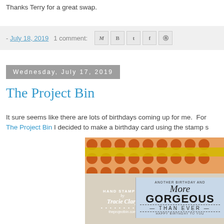Thanks Terry for a great swap.
- July 18, 2019   1 comment:
Wednesday, July 17, 2019
The Project Bin
It sure seems like there are lots of birthdays coming up for me.  For The Project Bin I decided to make a birthday card using the stamp s
[Figure (photo): A handmade birthday card in a project bin, featuring orange polka dot paper with a yellow ribbon and a stamp overlay reading 'Hand Stamped by Tracie Clary - theprojectbin.com', with a 'More Gorgeous Than Ever' sentiment on a blue label.]